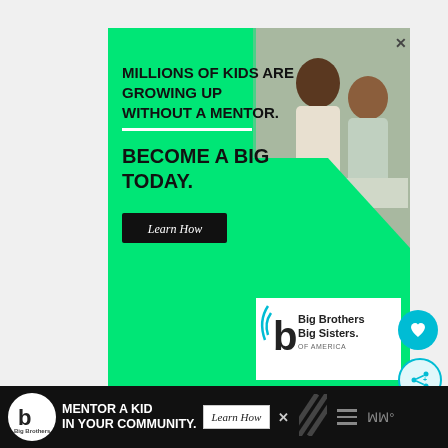[Figure (infographic): Big Brothers Big Sisters of America advertisement banner on green background. Text reads: MILLIONS OF KIDS ARE GROWING UP WITHOUT A MENTOR. BECOME A BIG TODAY. With a Learn How button and BBBS logo. Photo of adult and child in upper right.]
BUT OUR MAIN GOAL IS TO TELL YOU THE NEXT IMPORTANT EVENT IN THE MARKETS. AND SOMETIMES
[Figure (infographic): Bottom banner ad: Big Brothers Big Sisters logo on dark background with text MENTOR A KID IN YOUR COMMUNITY. Learn How button.]